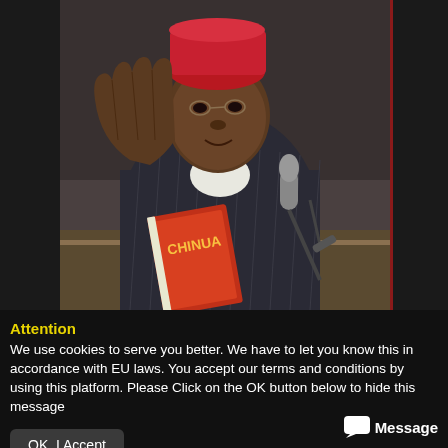[Figure (photo): Elderly African man wearing a red cap, dark pinstripe robe, holding a red book labeled 'CHINUA', speaking at a microphone with right hand raised, against a dark background]
Attention
We use cookies to serve you better. We have to let you know this in accordance with EU laws. You accept our terms and conditions by using this platform. Please Click on the OK button below to hide this message
OK, I Accept
Message